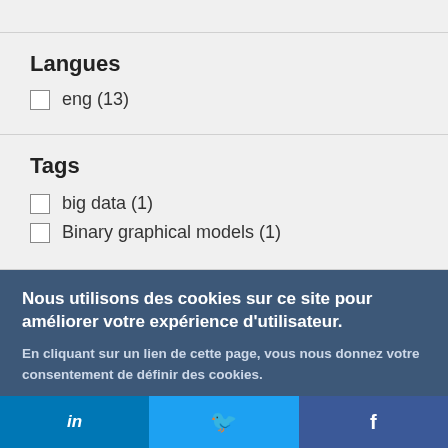Langues
eng (13)
Tags
big data (1)
Binary graphical models (1)
Nous utilisons des cookies sur ce site pour améliorer votre expérience d'utilisateur.
En cliquant sur un lien de cette page, vous nous donnez votre consentement de définir des cookies.
Oui, je suis d'accord
Plus d'infos
in
🐦
f